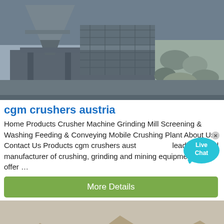[Figure (photo): Industrial crushing/screening machine equipment in a facility, grey metal structure with vibrating screen, rocks/rubble visible on right side.]
cgm crushers austria
Home Products Crusher Machine Grinding Mill Screening & Washing Feeding & Conveying Mobile Crushing Plant About Us Contact Us Products cgm crushers austria leading global manufacturer of crushing, grinding and mining equipments, we offer …
[Figure (other): Live Chat bubble UI element, teal/cyan speech bubble with text 'Live Chat' and an X close button.]
More Details
[Figure (photo): Outdoor quarry/mining site with conveyor belts and crushing equipment on a hillside, mountains in background, arid landscape.]